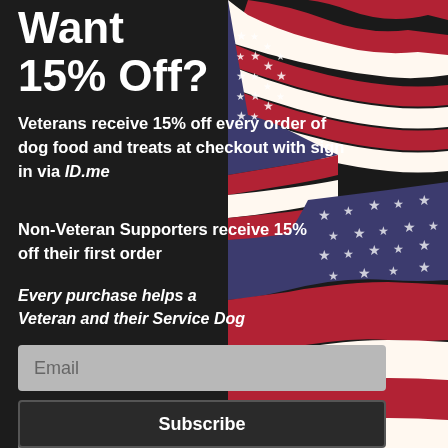Want 15% Off?
[Figure (illustration): American flag draped in background on right side, showing red, white, blue stripes and stars on dark background]
Veterans receive 15% off every order of dog food and treats at checkout with sign in via ID.me
Non-Veteran Supporters receive 15% off their first order
Every purchase helps a Veteran and their Service Dog
Email
Veteran
Supporter (non-Veteran)
Subscribe